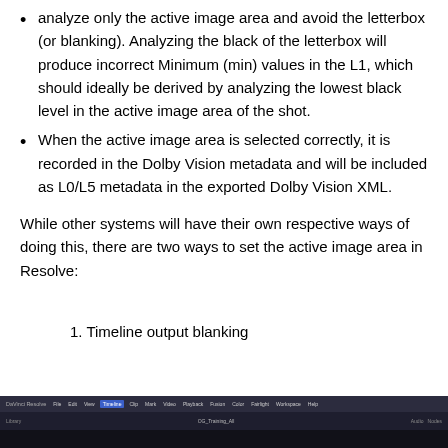analyze only the active image area and avoid the letterbox (or blanking). Analyzing the black of the letterbox will produce incorrect Minimum (min) values in the L1, which should ideally be derived by analyzing the lowest black level in the active image area of the shot.
When the active image area is selected correctly, it is recorded in the Dolby Vision metadata and will be included as L0/L5 metadata in the exported Dolby Vision XML.
While other systems will have their own respective ways of doing this, there are two ways to set the active image area in Resolve:
1. Timeline output blanking
[Figure (screenshot): Screenshot of DaVinci Resolve interface showing timeline and menu bar]